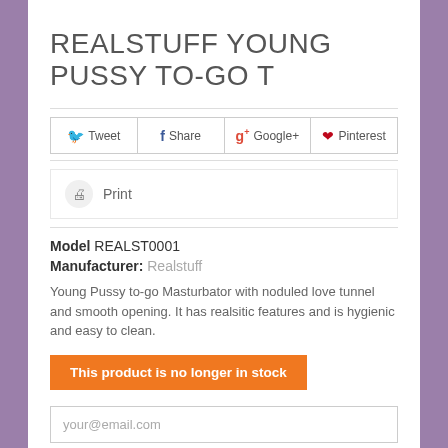REALSTUFF YOUNG PUSSY TO-GO T
Tweet  Share  Google+  Pinterest
Print
Model REALST0001
Manufacturer: Realstuff
Young Pussy to-go Masturbator with noduled love tunnel and smooth opening. It has realsitic features and is hygienic and easy to clean.
This product is no longer in stock
your@email.com
Notify me when available